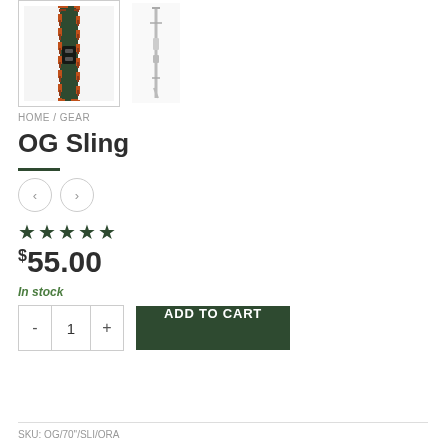[Figure (photo): Thumbnail image of OG Sling product (plaid strap with buckle), selected state with border]
[Figure (photo): Thumbnail image of OG Sling product (full rifle sling, grey/tan)]
HOME / GEAR
OG Sling
★★★★★
$55.00
In stock
- 1 + ADD TO CART
SKU: OG/70"/SLI/ORA